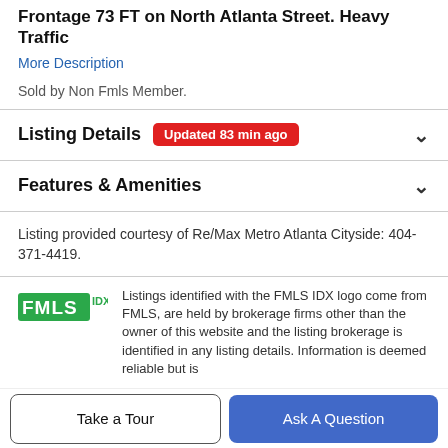Frontage 73 FT on North Atlanta Street. Heavy Traffic
More Description
Sold by Non Fmls Member.
Listing Details  Updated 83 min ago
Features & Amenities
Listing provided courtesy of Re/Max Metro Atlanta Cityside: 404-371-4419.
[Figure (logo): FMLS IDX logo in green]
Listings identified with the FMLS IDX logo come from FMLS, are held by brokerage firms other than the owner of this website and the listing brokerage is identified in any listing details. Information is deemed reliable but is
Take a Tour
Ask A Question